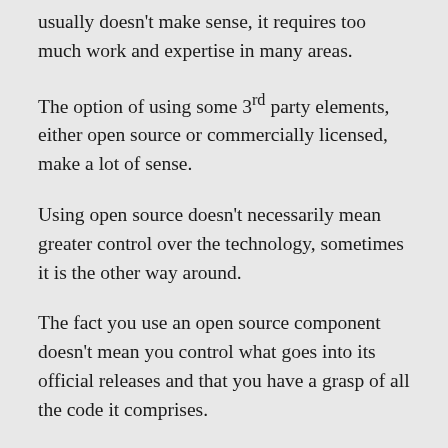usually doesn't make sense, it requires too much work and expertise in many areas.
The option of using some 3rd party elements, either open source or commercially licensed, make a lot of sense.
Using open source doesn't necessarily mean greater control over the technology, sometimes it is the other way around.
The fact you use an open source component doesn't mean you control what goes into its official releases and that you have a grasp of all the code it comprises.
Using a commercial license actually gives you more leverage on the vendor to implement features you require and naturally allows you to get support from those who developed the platform when things break.